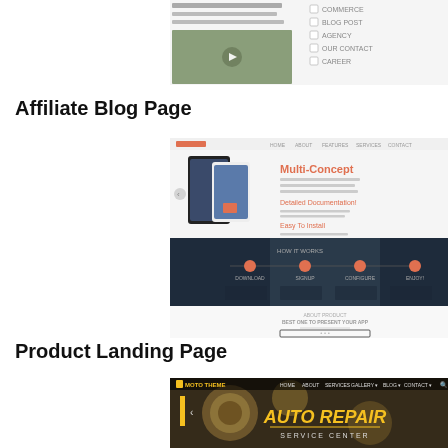[Figure (screenshot): Partial screenshot of Affiliate Blog Page website with food image and checkboxes]
Affiliate Blog Page
[Figure (screenshot): Screenshot of Multi-Concept Product Landing Page showing mobile phones and how it works steps]
Product Landing Page
[Figure (screenshot): Screenshot of Moto Theme Auto Repair Service Center website with dark themed header]